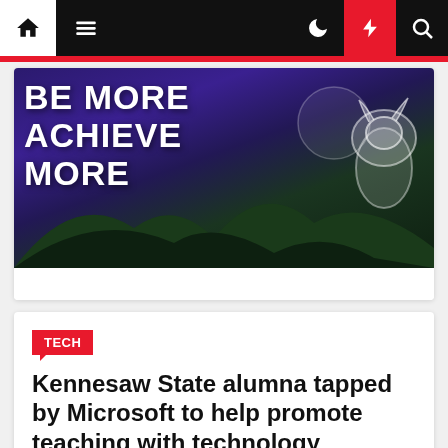Navigation bar with home, menu, moon, lightning, search icons
[Figure (photo): Promotional banner image with purple/dark background showing mountains and a mascot silhouette, with bold white text reading 'BE MORE ACHIEVE MORE' overlaid]
TECH
Kennesaw State alumna tapped by Microsoft to help promote teaching with technology
Roben Walker  1 year ago